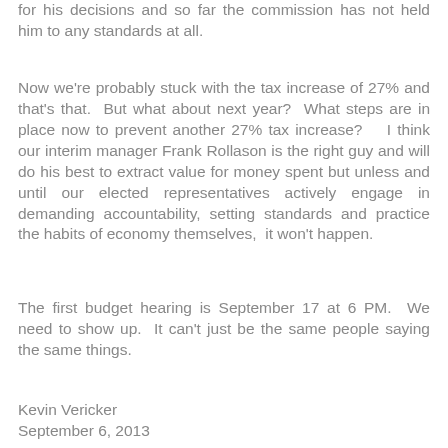for his decisions and so far the commission has not held him to any standards at all.
Now we're probably stuck with the tax increase of 27% and that's that.  But what about next year?  What steps are in place now to prevent another 27% tax increase?    I think our interim manager Frank Rollason is the right guy and will do his best to extract value for money spent but unless and until our elected representatives actively engage in demanding accountability, setting standards and practice the habits of economy themselves,  it won't happen.
The first budget hearing is September 17 at 6 PM.  We need to show up.  It can't just be the same people saying the same things.
Kevin Vericker
September 6, 2013